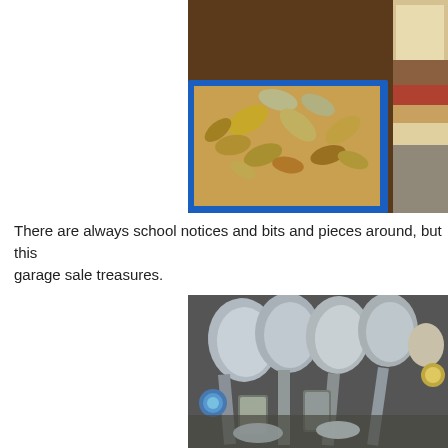[Figure (photo): A cardboard box with a blue rim filled with a jumble of silver/gold spoons and other cutlery, placed on a dark wooden surface. To the right are stacked fabrics and a container.]
There are always school notices and bits and pieces around, but this garage sale treasures.
[Figure (photo): Close-up of a collection of decorative souvenir spoons mixed together, showing silver spoon bowls with ornate handles and decorative medallions.]